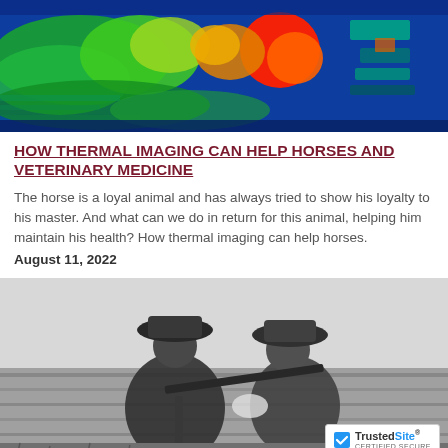[Figure (photo): Thermal infrared image of a horse showing heat map with colors ranging from blue (cool) through green to yellow, orange, and red (hot areas), primarily on the back and hindquarters region.]
HOW THERMAL IMAGING CAN HELP HORSES AND VETERINARY MEDICINE
The horse is a loyal animal and has always tried to show his loyalty to his master. And what can we do in return for this animal, helping him maintain his health? How thermal imaging can help horses.
August 11, 2022
[Figure (photo): Black and white vintage photograph of two men wearing wide-brimmed hats outdoors in a grassy field, one holding what appears to be equipment or a rifle.]